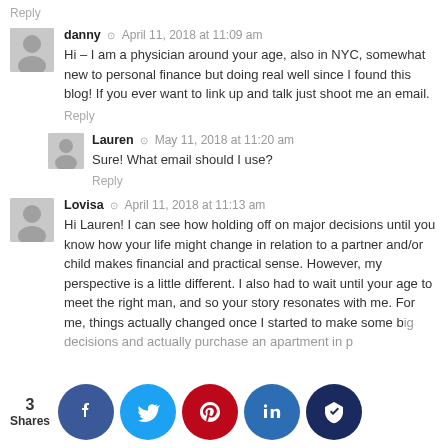Reply
danny © April 11, 2018 at 11:09 am
Hi – I am a physician around your age, also in NYC, somewhat new to personal finance but doing real well since I found this blog! If you ever want to link up and talk just shoot me an email.
Reply
Lauren © May 11, 2018 at 11:20 am
Sure! What email should I use?
Reply
Lovisa © April 11, 2018 at 11:13 am
Hi Lauren! I can see how holding off on major decisions until you know how your life might change in relation to a partner and/or child makes financial and practical sense. However, my perspective is a little different. I also had to wait until your age to meet the right man, and so your story resonates with me. For me, things actually changed once I started to make some big decisions and actually purchase an apartment in pr... I think sometimes acknowledging and a...
3 Shares